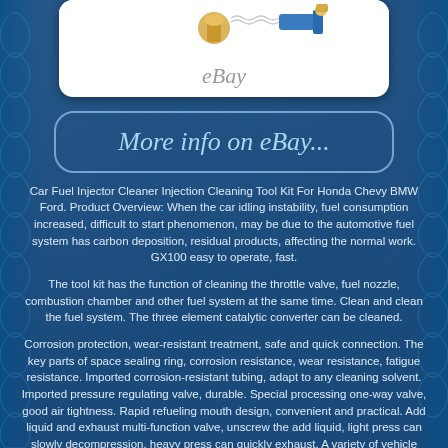[Figure (photo): eBay product listing image showing car fuel injector cleaner kit components with eBay watermark]
[Figure (other): More info on eBay button/banner with rounded rectangle border in light blue italic text]
Car Fuel Injector Cleaner Injection Cleaning Tool Kit For Honda Chevy BMW Ford. Product Overview: When the car idling instability, fuel consumption increased, difficult to start phenomenon, may be due to the automotive fuel system has carbon deposition, residual products, affecting the normal work. GX100 easy to operate, fast.
The tool kit has the function of cleaning the throttle valve, fuel nozzle, combustion chamber and other fuel system at the same time. Clean and clean the fuel system. The three element catalytic converter can be cleaned.
Corrosion protection, wear-resistant treatment, safe and quick connection. The key parts of space sealing ring, corrosion resistance, wear resistance, fatigue resistance. Imported corrosion-resistant tubing, adapt to any cleaning solvent. Imported pressure regulating valve, durable. Special processing one-way valve, good air tightness. Rapid refueling mouth design, convenient and practical. Add liquid and exhaust multi-function valve, unscrew the add liquid, light press can slowly decompression, heavy press can quickly exhaust. A variety of vehicle joints, and most of the models